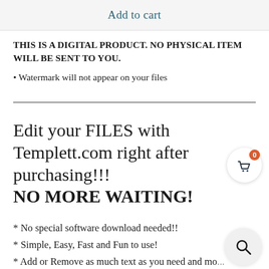Add to cart
THIS IS A DIGITAL PRODUCT. NO PHYSICAL ITEM WILL BE SENT TO YOU.
• Watermark will not appear on your files
Edit your FILES with Templett.com right after purchasing!!! NO MORE WAITING!
* No special software download needed!!
* Simple, Easy, Fast and Fun to use!
* Add or Remove as much text as you need and mo...